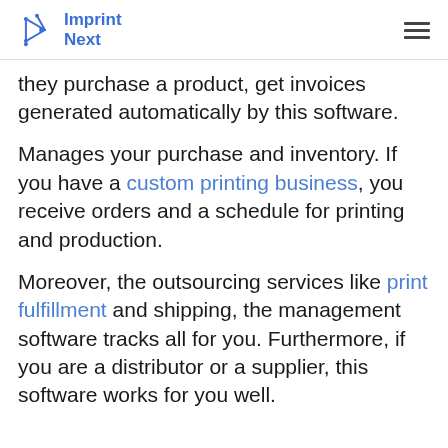Imprint Next
they purchase a product, get invoices generated automatically by this software.
Manages your purchase and inventory. If you have a custom printing business, you receive orders and a schedule for printing and production.
Moreover, the outsourcing services like print fulfillment and shipping, the management software tracks all for you. Furthermore, if you are a distributor or a supplier, this software works for you well.